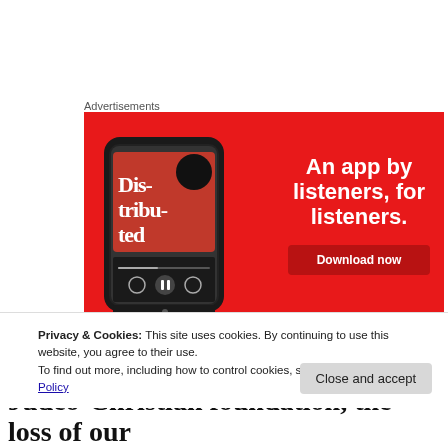Advertisements
[Figure (screenshot): Advertisement banner for a podcast app on a red background. Shows a smartphone displaying 'Dis-tri-bu-ted' podcast with text 'An app by listeners, for listeners.' and a 'Download now' button.]
Privacy & Cookies: This site uses cookies. By continuing to use this website, you agree to their use.
To find out more, including how to control cookies, see here: Cookie Policy
Close and accept
Judeo-Christian foundation, the loss of our